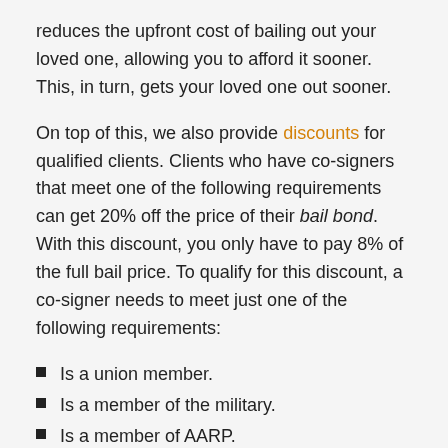reduces the upfront cost of bailing out your loved one, allowing you to afford it sooner. This, in turn, gets your loved one out sooner.
On top of this, we also provide discounts for qualified clients. Clients who have co-signers that meet one of the following requirements can get 20% off the price of their bail bond. With this discount, you only have to pay 8% of the full bail price. To qualify for this discount, a co-signer needs to meet just one of the following requirements:
Is a union member.
Is a member of the military.
Is a member of AARP.
Is a homeowner.
Has a private attorney.
The cost of someone's bail is dependent on the crime